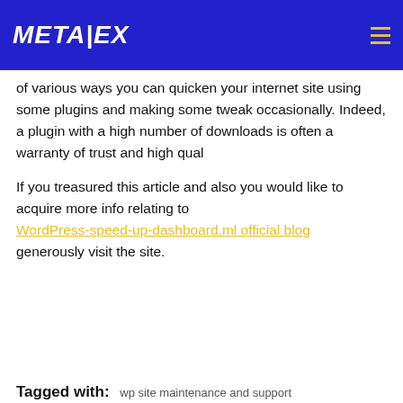METALEX
of various ways you can quicken your internet site using some plugins and making some tweak occasionally. Indeed, a plugin with a high number of downloads is often a warranty of trust and high qual
If you treasured this article and also you would like to acquire more info relating to WordPress-speed-up-dashboard.ml official blog generously visit the site.
Tagged with:  wp site maintenance and support